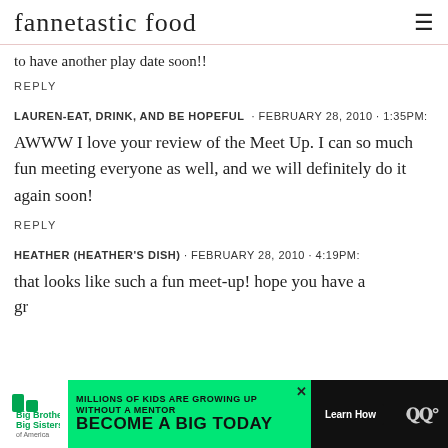fannetastic food
to have another play date soon!!
REPLY
LAUREN-EAT, DRINK, AND BE HOPEFUL · FEBRUARY 28, 2010 · 1:35PM:
AWWW I love your review of the Meet Up. I can so much fun meeting everyone as well, and we will definitely do it again soon!
REPLY
HEATHER (HEATHER'S DISH) · FEBRUARY 28, 2010 · 4:19PM:
that looks like such a fun meet-up! hope you have a gr
[Figure (infographic): Advertisement banner: Big Brothers Big Sisters logo, green background with text 'MILLIONS OF KIDS ARE GROWING UP WITHOUT A MENTOR. BECOME A BIG TODAY', Learn How button, close button, and Tuneln logo]